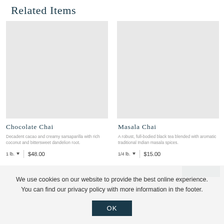Related Items
Chocolate Chai
Decadent cacao and creamy sarsaparilla with rich coconut and bittersweet dandelion root.
1 lb. ▼ | $48.00
Masala Chai
A robust, full-bodied black tea blended with aromatic traditional Indian masala spices.
1/4 lb. ▼ | $15.00
We use cookies on our website to provide the best online experience. You can find our privacy policy with more information in the footer.